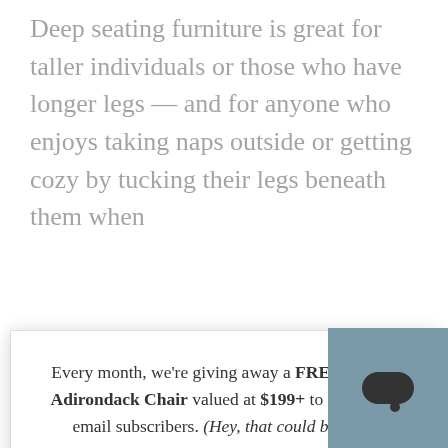Deep seating furniture is great for taller individuals or those who have longer legs — and for anyone who enjoys taking naps outside or getting cozy by tucking their legs beneath them when
Every month, we're giving away a FREE Classic Adirondack Chair valued at $199+ to one of our email subscribers. (Hey, that could be you!)
Enter your email address
SIGN ME UP!
One (1) winner will be selected at random at the end of each month and contacted by email. U.S. entrants only.